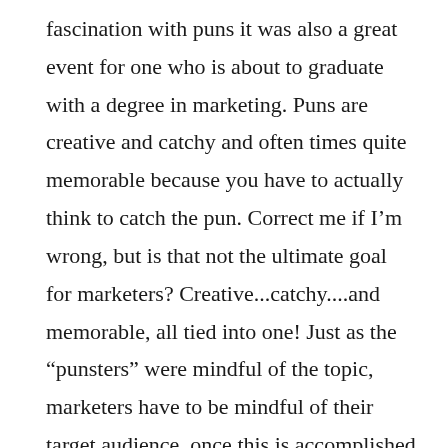fascination with puns it was also a great event for one who is about to graduate with a degree in marketing. Puns are creative and catchy and often times quite memorable because you have to actually think to catch the pun. Correct me if I'm wrong, but is that not the ultimate goal for marketers? Creative...catchy....and memorable, all tied into one! Just as the “punsters” were mindful of the topic, marketers have to be mindful of their target audience, once this is accomplished the creative, catchy and memorable puns or in marketing terms: slogan, brand name, tagline, product, etc. must follow to achieve total success. At the Pun Festival, the well thought out puns